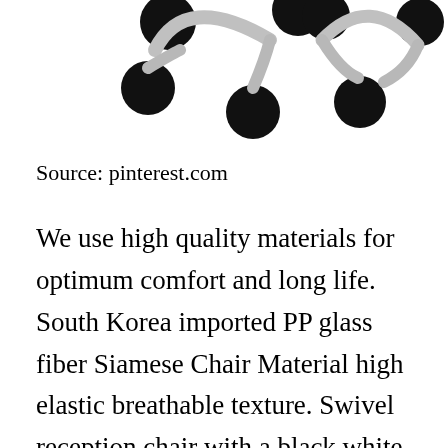[Figure (photo): Bottom view of office chair bases showing black casters and chrome/silver star base arms on white background — two chair bases partially visible]
Source: pinterest.com
We use high quality materials for optimum comfort and long life. South Korea imported PP glass fiber Siamese Chair Material high elastic breathable texture. Swivel reception chair with a black white or chrome-plated 4-star base. Find details about Client leisure reception swivel office chairs conference chairs sale swivel [CLOSE X] hair. The 22-chair